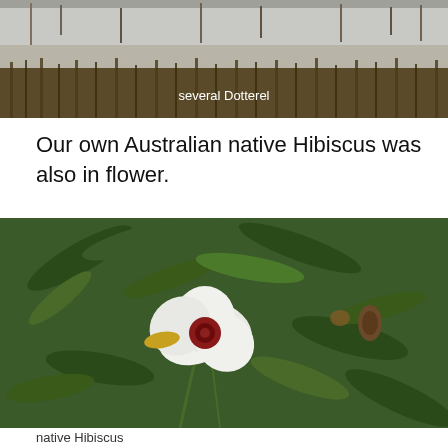[Figure (photo): Photo of wetland/marsh area with plants growing in water and mudflat background, caption reads 'several Dotterel']
several Dotterel
Our own Australian native Hibiscus was also in flower.
[Figure (photo): Photo of Australian native Hibiscus plant with white flower and dark red center, surrounded by green leaves]
native Hibiscus